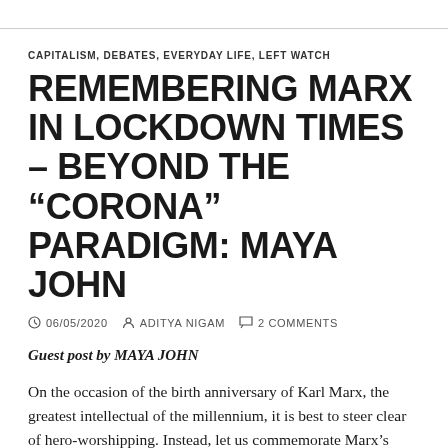CAPITALISM, DEBATES, EVERYDAY LIFE, LEFT WATCH
REMEMBERING MARX IN LOCKDOWN TIMES – BEYOND THE “CORONA” PARADIGM: MAYA JOHN
06/05/2020   ADITYA NIGAM   2 COMMENTS
Guest post by MAYA JOHN
On the occasion of the birth anniversary of Karl Marx, the greatest intellectual of the millennium, it is best to steer clear of hero-worshipping. Instead, let us commemorate Marx’s ideas by re-enacting his way of knowing things. Much